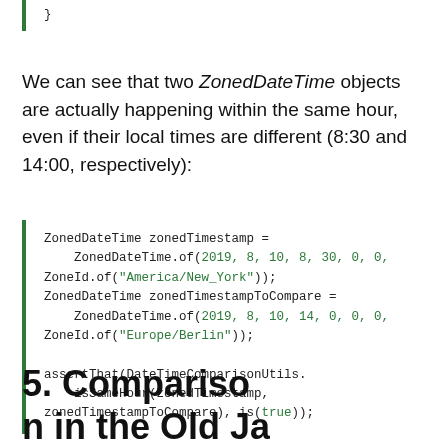}
We can see that two ZonedDateTime objects are actually happening within the same hour, even if their local times are different (8:30 and 14:00, respectively):
ZonedDateTime zonedTimestamp =
    ZonedDateTime.of(2019, 8, 10, 8, 30, 0, 0, ZoneId.of("America/New_York"));
ZonedDateTime zonedTimestampToCompare =
    ZonedDateTime.of(2019, 8, 10, 14, 0, 0, 0, ZoneId.of("Europe/Berlin"));

assertThat(DateTimeComparisonUtils.
    isSameHour(zonedTimestamp,
zonedTimestampToCompare), is(true));
5. Comparison in the Old Ja...